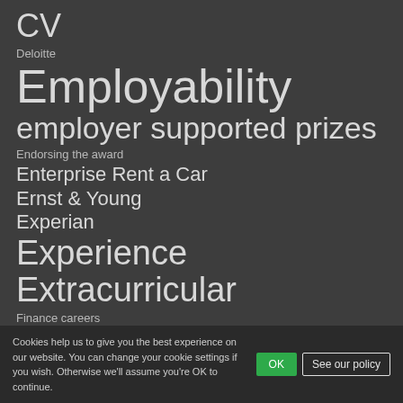CV
Deloitte
Employability
employer supported prizes
Endorsing the award
Enterprise Rent a Car
Ernst & Young
Experian
Experience
Extracurricular
Finance careers
Interviews
Language
Leadership
Michael Page International
Cookies help us to give you the best experience on our website. You can change your cookie settings if you wish. Otherwise we'll assume you're OK to continue.